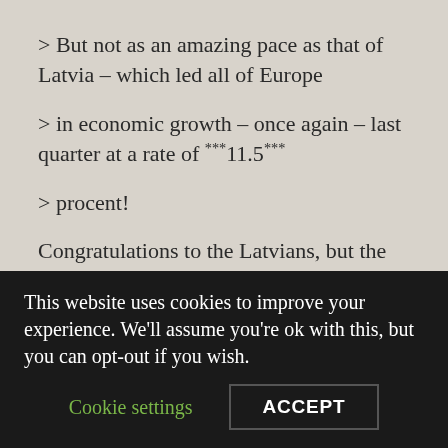> But not as an amazing pace as that of Latvia – which led all of Europe
> in economic growth – once again – last quarter at a rate of ***11.5***
> procent!
Congratulations to the Latvians, but the high growth rate is a symptom of the fact that Latvia is currently the poorest member of the EU and has a lot of catching up to do.
> > For a visitor who does not know the language, Estonia
This website uses cookies to improve your experience. We'll assume you're ok with this, but you can opt-out if you wish.
Cookie settings | ACCEPT